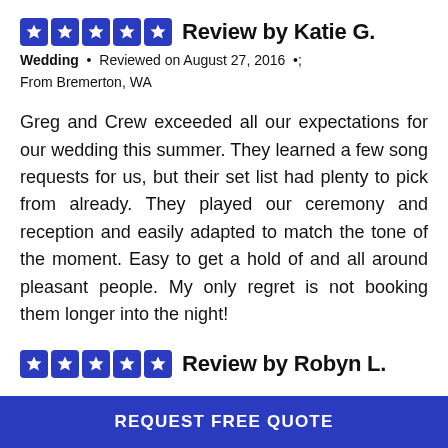⭐⭐⭐⭐⭐ Review by Katie G.
Wedding • Reviewed on August 27, 2016 • From Bremerton, WA
Greg and Crew exceeded all our expectations for our wedding this summer. They learned a few song requests for us, but their set list had plenty to pick from already. They played our ceremony and reception and easily adapted to match the tone of the moment. Easy to get a hold of and all around pleasant people. My only regret is not booking them longer into the night!
⭐⭐⭐⭐⭐ Review by Robyn L.
REQUEST FREE QUOTE